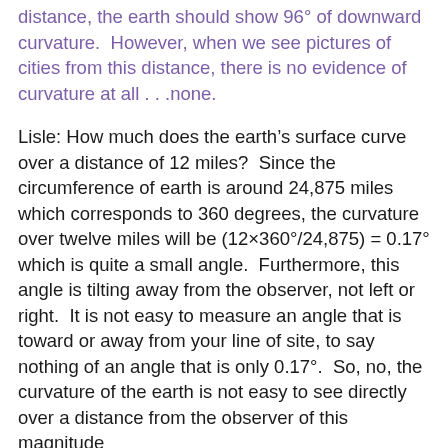distance, the earth should show 96° of downward curvature.  However, when we see pictures of cities from this distance, there is no evidence of curvature at all . . .none.
Lisle: How much does the earth's surface curve over a distance of 12 miles?  Since the circumference of earth is around 24,875 miles which corresponds to 360 degrees, the curvature over twelve miles will be (12×360°/24,875) = 0.17° which is quite a small angle.  Furthermore, this angle is tilting away from the observer, not left or right.  It is not easy to measure an angle that is toward or away from your line of site, to say nothing of an angle that is only 0.17°.  So, no, the curvature of the earth is not easy to see directly over a distance from the observer of this magnitude